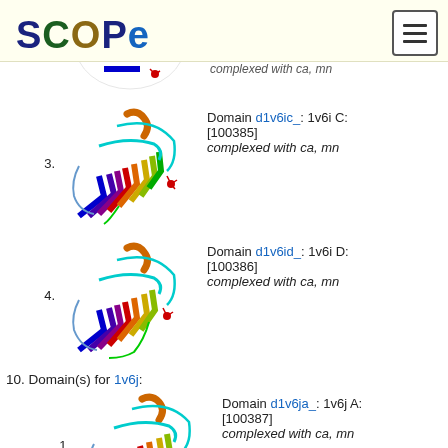[Figure (logo): SCOPe logo with colored letters]
[Figure (photo): Partial protein structure at top of page - cropped entry, complexed with ca, mn]
3. Domain d1v6ic_: 1v6i C: [100385] complexed with ca, mn
[Figure (illustration): Protein structure 3D ribbon diagram for d1v6ic_]
4. Domain d1v6id_: 1v6i D: [100386] complexed with ca, mn
[Figure (illustration): Protein structure 3D ribbon diagram for d1v6id_]
10. Domain(s) for 1v6j:
1. Domain d1v6ja_: 1v6j A: [100387] complexed with ca, mn
[Figure (illustration): Protein structure 3D ribbon diagram for d1v6ja_]
2. Domain d1v6jb_: 1v6j B: (partial, cropped at bottom)